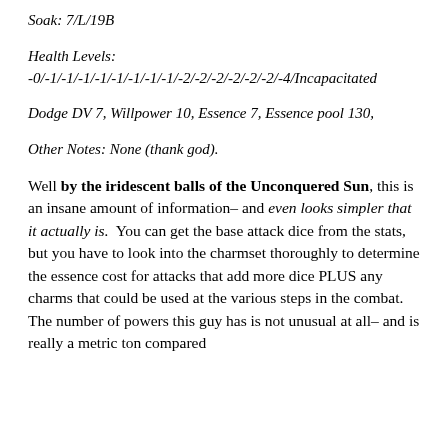Soak: 7/L/19B
Health Levels:
-0/-1/-1/-1/-1/-1/-1/-1/-1/-2/-2/-2/-2/-2/-2/-4/Incapacitated
Dodge DV 7, Willpower 10, Essence 7, Essence pool 130,
Other Notes: None (thank god).
Well by the iridescent balls of the Unconquered Sun, this is an insane amount of information– and even looks simpler that it actually is. You can get the base attack dice from the stats, but you have to look into the charmset thoroughly to determine the essence cost for attacks that add more dice PLUS any charms that could be used at the various steps in the combat. The number of powers this guy has is not unusual at all– and is really a metric ton compared